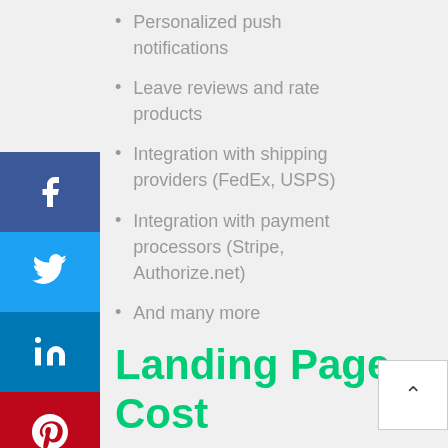Personalized push notifications
Leave reviews and rate products
Integration with shipping providers (FedEx, USPS)
Integration with payment processors (Stripe, Authorize.net)
And many more
Landing Page Cost